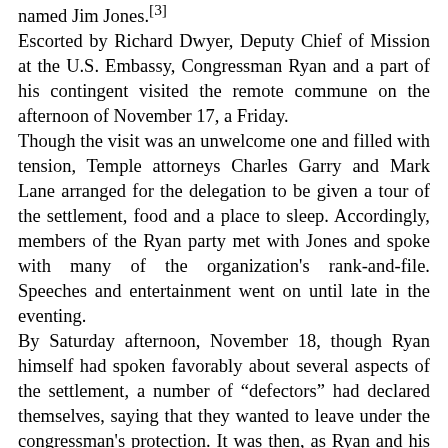named Jim Jones.[3] Escorted by Richard Dwyer, Deputy Chief of Mission at the U.S. Embassy, Congressman Ryan and a part of his contingent visited the remote commune on the afternoon of November 17, a Friday. Though the visit was an unwelcome one and filled with tension, Temple attorneys Charles Garry and Mark Lane arranged for the delegation to be given a tour of the settlement, food and a place to sleep. Accordingly, members of the Ryan party met with Jones and spoke with many of the organization's rank-and-file. Speeches and entertainment went on until late in the eventing. By Saturday afternoon, November 18, though Ryan himself had spoken favorably about several aspects of the settlement, a number of "defectors" had declared themselves, saying that they wanted to leave under the congressman's protection. It was then, as Ryan and his cohort were preparing to depart, that the congressman was suddenly, freakishly, attacked by a knife-wielding man. Though the scuffle was quickly broken up, and Ryan uninjured, the provocation put an end to the uneasy truce that both sides had cultivated.[4] Driven to the airstrip at nearby Port Kaituma, where two